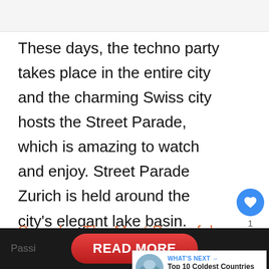These days, the techno party takes place in the entire city and the charming Swiss city hosts the Street Parade, which is amazing to watch and enjoy. Street Parade Zurich is held around the city’s elegant lake basin.
See also  The Most Powerful
READ MORE